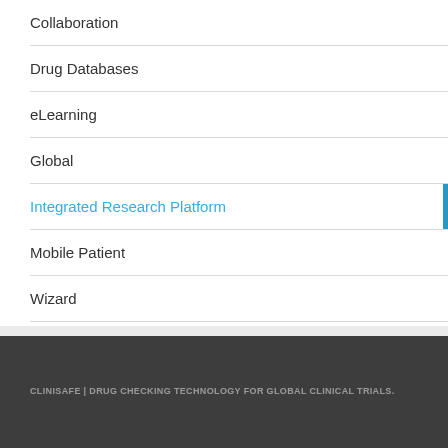Collaboration
Drug Databases
eLearning
Global
Integrated Research Platform
Mobile Patient
Wizard
CLINISAFE | DRUG CHECKING TECHNOLOGY FOR GLOBAL CLINICAL TRIALS.